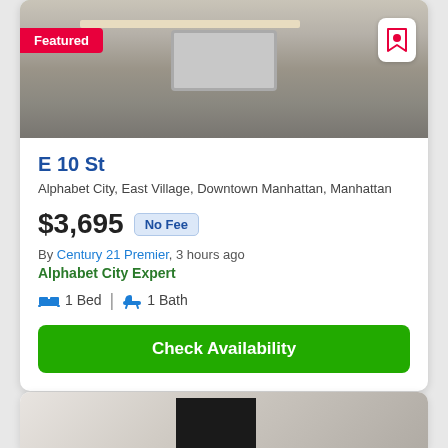[Figure (photo): Kitchen photo showing countertop with sink, cabinets below, and wood cutting board. Featured badge in top-left. Save/bookmark button in top-right.]
E 10 St
Alphabet City, East Village, Downtown Manhattan, Manhattan
$3,695 No Fee
By Century 21 Premier, 3 hours ago
Alphabet City Expert
1 Bed | 1 Bath
Check Availability
[Figure (photo): Partial photo of a room interior visible at the bottom of the page, showing white walls and a dark object.]